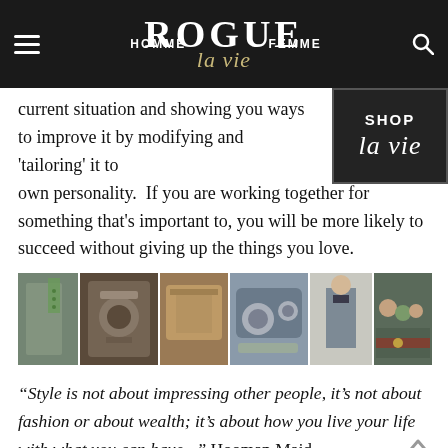HOMME | ROGUE la vie | FEMME
[Figure (screenshot): Shop la vie badge — dark textured background with 'SHOP' in white bold caps and 'la vie' in white cursive script]
current situation and showing you ways to improve it by modifying and 'tailoring' it to your own personality.  If you are working together for something that's important to, you will be more likely to succeed without giving up the things you love.
[Figure (photo): Horizontal photo strip showing a collage of lifestyle and fashion images: tweed jacket with green tie, vintage espresso machine, leather bag and camera equipment, gym/fitness bag with accessories, man in suit, group of people at an event, belt close-up.]
“Style is not about impressing other people, it’s not about fashion or about wealth; it’s about how you live your life with what you can have...” Hooman Majd